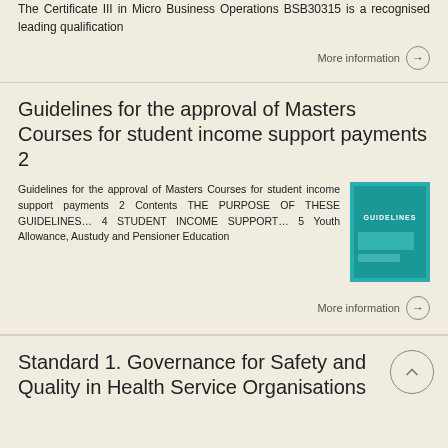The Certificate III in Micro Business Operations BSB30315 is a recognised leading qualification
More information →
Guidelines for the approval of Masters Courses for student income support payments 2
Guidelines for the approval of Masters Courses for student income support payments 2 Contents THE PURPOSE OF THESE GUIDELINES… 4 STUDENT INCOME SUPPORT… 5 Youth Allowance, Austudy and Pensioner Education
[Figure (illustration): Teal/green cover image of a document titled GUIDELINES]
More information →
Standard 1. Governance for Safety and Quality in Health Service Organisations